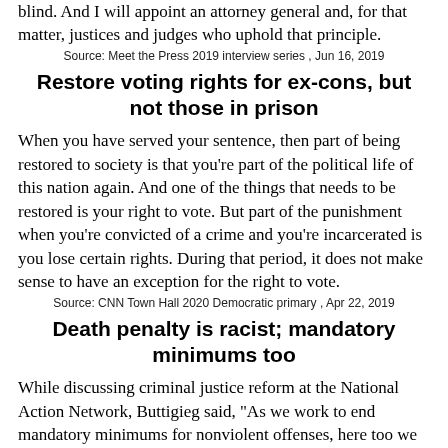blind. And I will appoint an attorney general and, for that matter, justices and judges who uphold that principle.
Source: Meet the Press 2019 interview series , Jun 16, 2019
Restore voting rights for ex-cons, but not those in prison
When you have served your sentence, then part of being restored to society is that you're part of the political life of this nation again. And one of the things that needs to be restored is your right to vote. But part of the punishment when you're convicted of a crime and you're incarcerated is you lose certain rights. During that period, it does not make sense to have an exception for the right to vote.
Source: CNN Town Hall 2020 Democratic primary , Apr 22, 2019
Death penalty is racist; mandatory minimums too
While discussing criminal justice reform at the National Action Network, Buttigieg said, "As we work to end mandatory minimums for nonviolent offenses, here too we must be intentional about fixing disparities that have deeply unfair racial consequences. It is time to face the simple fact that capital punishment as seen in America has always been a discriminatory practice and we would be a fairer and safer country when we join the ranks of modern nations who have abolished the death penalty."